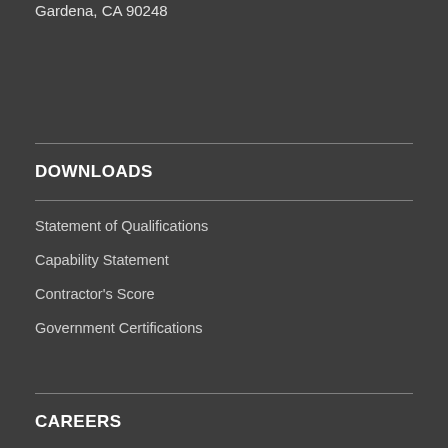Gardena, CA 90248
DOWNLOADS
Statement of Qualifications
Capability Statement
Contractor's Score
Government Certifications
CAREERS